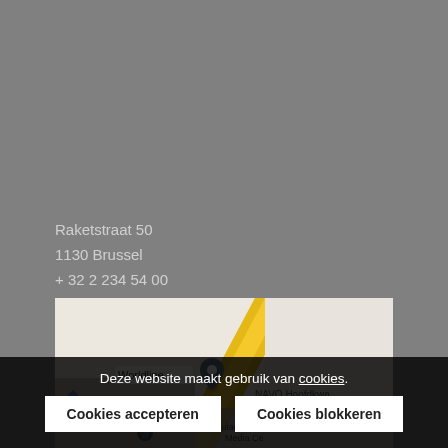Raketstraat 50
1130 Brussel
+ 32 2 234 54 00
info@marketing.be
[Figure (map): Google Maps screenshot showing location of Worldline near N21 road in Brussels area, with a map pin marker and labels including NAVO Hoofdkwa and Roularte Brussels Media Ce]
Deze website maakt gebruik van cookies.
Cookies accepteren
Cookies blokkeren